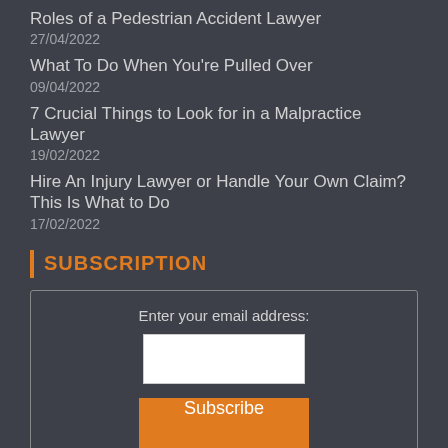Roles of a Pedestrian Accident Lawyer
27/04/2022
What To Do When You're Pulled Over
09/04/2022
7 Crucial Things to Look for in a Malpractice Lawyer
19/02/2022
Hire An Injury Lawyer or Handle Your Own Claim? This Is What to Do
17/02/2022
SUBSCRIPTION
Enter your email address:
Subscribe
Delivered by Rescue Law